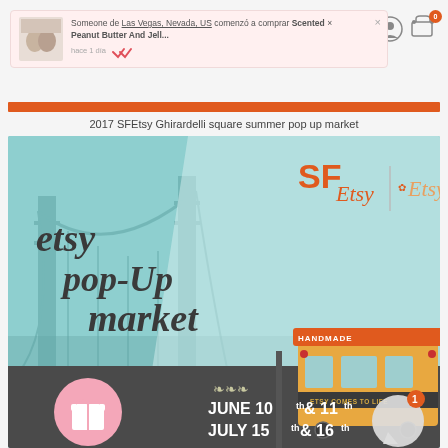Someone de Las Vegas, Nevada, US comenzó a comprar Scented Peanut Butter And Jell... hace 1 día
2017 SFEtsy Ghirardelli square summer pop up market
[Figure (infographic): SFEtsy Pop-Up Market promotional image featuring Golden Gate Bridge silhouette in teal, handwritten 'etsy pop-up market' text, SF Etsy and Etsy logos, a cable car labeled HANDMADE and ETSY COMES TO LIFE, dates JUNE 10th & 11th, JULY 15th & 16th on dark background, pink gift icon circle, chat bubble with notification badge]